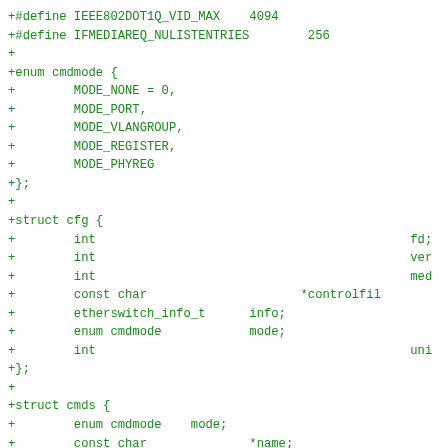+#define IEEE802DOT1Q_VID_MAX    4094
+#define IFMEDIAREQ_NULISTENTRIES        256
+
+enum cmdmode {
+        MODE_NONE = 0,
+        MODE_PORT,
+        MODE_VLANGROUP,
+        MODE_REGISTER,
+        MODE_PHYREG
+};
+
+struct cfg {
+        int                                           fd;
+        int                                           ver
+        int                                           med
+        const char                     *controlfil
+        etherswitch_info_t      info;
+        enum cmdmode            mode;
+        int                                           uni
+};
+
+struct cmds {
+        enum cmdmode    mode;
+        const char              *name;
+        int                             args;
+        void                            (*f)(struct cfg *,
+};
+struct cmds cmds[];
+
+